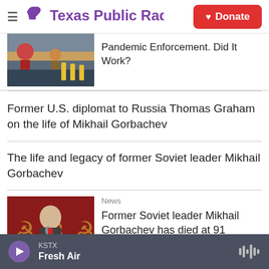Texas Public Radio — Donate
Pandemic Enforcement. Did It Work?
Former U.S. diplomat to Russia Thomas Graham on the life of Mikhail Gorbachev
The life and legacy of former Soviet leader Mikhail Gorbachev
[Figure (photo): Photo of Mikhail Gorbachev speaking at podium with Soviet flags in background]
News
Former Soviet leader Mikhail Gorbachev has died at 91
KSTX Fresh Air